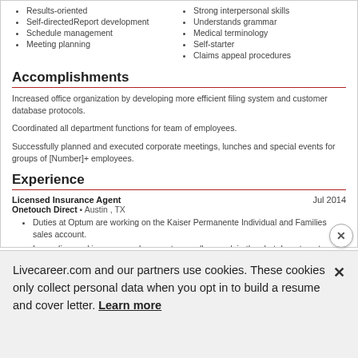Results-oriented
Self-directedReport development
Schedule management
Meeting planning
Strong interpersonal skills
Understands grammar
Medical terminology
Self-starter
Claims appeal procedures
Accomplishments
Increased office organization by developing more efficient filing system and customer database protocols.
Coordinated all department functions for team of employees.
Successfully planned and executed corporate meetings, lunches and special events for groups of [Number]+ employees.
Experience
Licensed Insurance Agent   Jul 2014
Onetouch Direct ▪ Austin , TX
Duties at Optum are working on the Kaiser Permanente Individual and Families sales account.
I am a licensed insurance sales agent, as well as work in the chat department.
I assist prospective members with obtaining coverage through Kaiser directly or the state marketplace in which they live.
Office Management   May 1999
Livecareer.com and our partners use cookies. These cookies only collect personal data when you opt in to build a resume and cover letter. Learn more